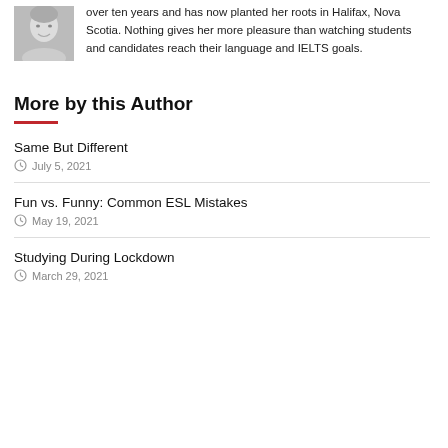[Figure (photo): Black and white headshot photo of a woman smiling]
over ten years and has now planted her roots in Halifax, Nova Scotia. Nothing gives her more pleasure than watching students and candidates reach their language and IELTS goals.
More by this Author
Same But Different
July 5, 2021
Fun vs. Funny: Common ESL Mistakes
May 19, 2021
Studying During Lockdown
March 29, 2021